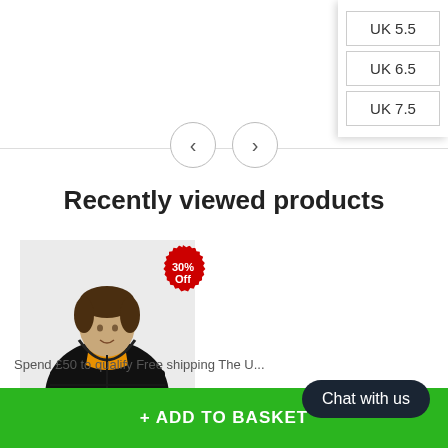UK 4.5
UK 5.5
UK 6.5
UK 7.5
Recently viewed products
[Figure (photo): Man wearing a black hooded puffer jacket with orange lining, 30% Off badge overlay]
Spend £50 to qualify Free shipping The U...
+ ADD TO BASKET
Chat with us